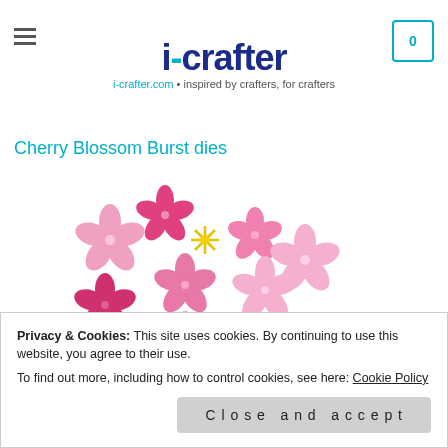[Figure (logo): i-crafter logo with shopping cart icon and hamburger menu. Logo text reads 'i-crafter' in dark blue with a teal dot, tagline 'i-crafter.com • inspired by crafters, for crafters']
Cherry Blossom Burst dies
[Figure (photo): Collection of cherry blossom die-cut shapes in various shades of pink, with a small yellow starburst accent, arranged in a cluster. i-crafter watermark visible.]
Privacy & Cookies: This site uses cookies. By continuing to use this website, you agree to their use.
To find out more, including how to control cookies, see here: Cookie Policy
Close and accept